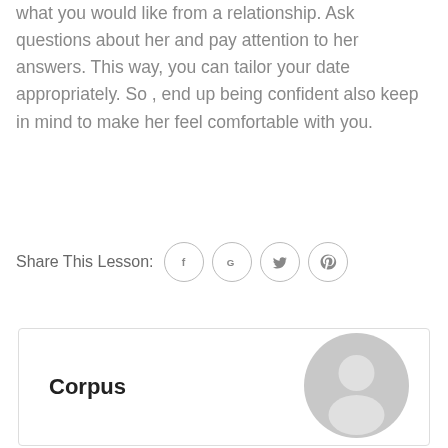what you would like from a relationship. Ask questions about her and pay attention to her answers. This way, you can tailor your date appropriately. So , end up being confident also keep in mind to make her feel comfortable with you.
Share This Lesson:
[Figure (infographic): Social sharing icons: Facebook (f), Google (G), Twitter (bird), Pinterest (P) in circular outlines]
Corpus
[Figure (illustration): Generic user avatar: grey circle with silhouette of person head and shoulders]